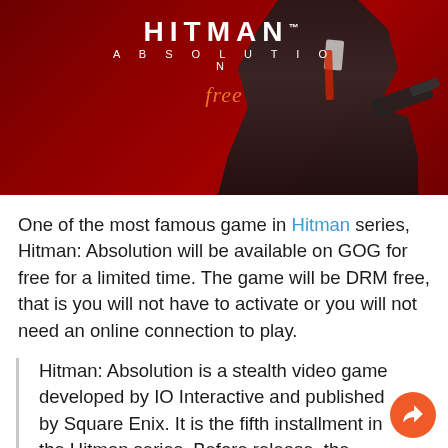[Figure (photo): Hitman: Absolution game cover image on a dark red background showing a man in a black suit holding a gun. The title 'HITMAN ABSOLUTION' is displayed in white text with the word 'free' in orange italic below it.]
One of the most famous game in Hitman series, Hitman: Absolution will be available on GOG for free for a limited time. The game will be DRM free, that is you will not have to activate or you will not need an online connection to play.
Hitman: Absolution is a stealth video game developed by IO Interactive and published by Square Enix. It is the fifth installment in the Hitman series. Before release, the